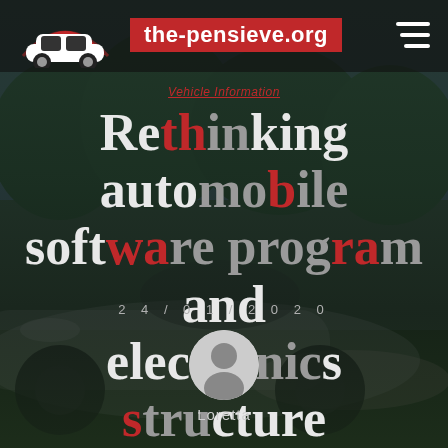the-pensieve.org
Vehicle Information
Rethinking automobile software program and electronics structure
24/01/2020
[Figure (illustration): Circular user avatar placeholder icon with silhouette]
Loretta